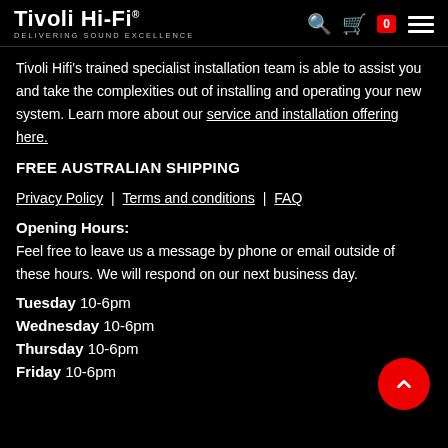Tivoli Hi-Fi — Delivering Sound Excellence
Tivoli Hifi's trained specialist installation team is able to assist you and take the complexities out of installing and operating your new system. Learn more about our service and installation offering here.
FREE AUSTRALIAN SHIPPING
Privacy Policy | Terms and conditions | FAQ
Opening Hours:
Feel free to leave us a message by phone or email outside of these hours. We will respond on our next business day.
Tuesday 10-6pm
Wednesday 10-6pm
Thursday 10-6pm
Friday 10-6pm